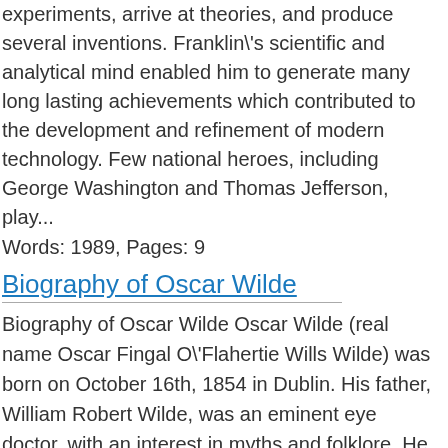experiments, arrive at theories, and produce several inventions. Franklin\'s scientific and analytical mind enabled him to generate many long lasting achievements which contributed to the development and refinement of modern technology. Few national heroes, including George Washington and Thomas Jefferson, play...
Words: 1989, Pages: 9
Biography of Oscar Wilde
Biography of Oscar Wilde Oscar Wilde (real name Oscar Fingal O\'Flahertie Wills Wilde) was born on October 16th, 1854 in Dublin. His father, William Robert Wilde, was an eminent eye doctor, with an interest in myths and folklore. He was the founder of the first eye and ear hospital in Great Britain, as well as the appointed Surgeon Occultist to the Queen, who knighted him. His mother, Jane Francesca Elgee